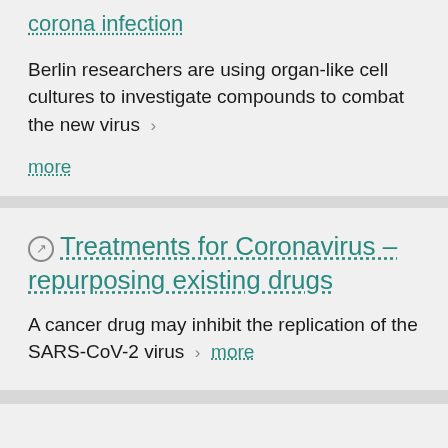corona infection
Berlin researchers are using organ-like cell cultures to investigate compounds to combat the new virus
more
Treatments for Coronavirus – repurposing existing drugs
A cancer drug may inhibit the replication of the SARS-CoV-2 virus  more